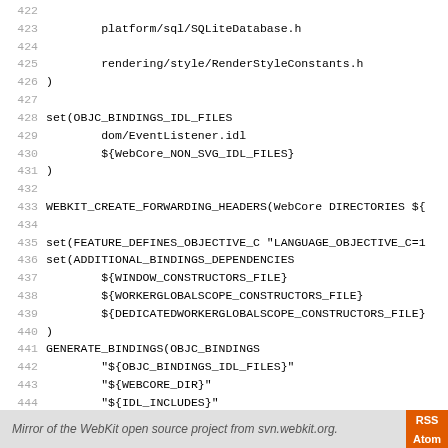Code listing lines 422-450: CMakeLists.txt snippet showing SQLiteDatabase.h, RenderStyleConstants.h, OBJC_BINDINGS_IDL_FILES, GENERATE_BINDINGS and related CMake commands.
Mirror of the WebKit open source project from svn.webkit.org.   RSS  Atom